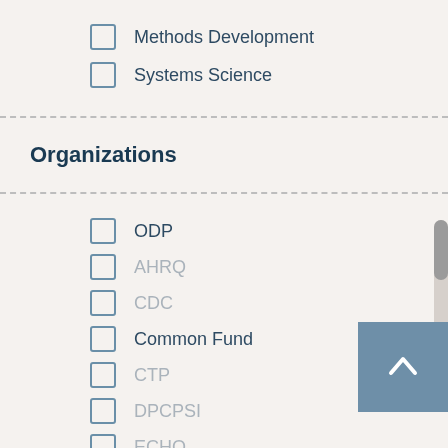Methods Development
Systems Science
Organizations
ODP
AHRQ
CDC
Common Fund
CTP
DPCPSI
ECHO
FDA
FIC